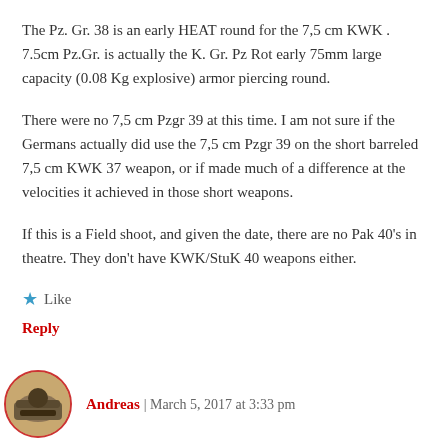The Pz. Gr. 38 is an early HEAT round for the 7,5 cm KWK . 7.5cm Pz.Gr. is actually the K. Gr. Pz Rot early 75mm large capacity (0.08 Kg explosive) armor piercing round.
There were no 7,5 cm Pzgr 39 at this time. I am not sure if the Germans actually did use the 7,5 cm Pzgr 39 on the short barreled 7,5 cm KWK 37 weapon, or if made much of a difference at the velocities it achieved in those short weapons.
If this is a Field shoot, and given the date, there are no Pak 40's in theatre. They don't have KWK/StuK 40 weapons either.
Like
Reply
Andreas | March 5, 2017 at 3:33 pm